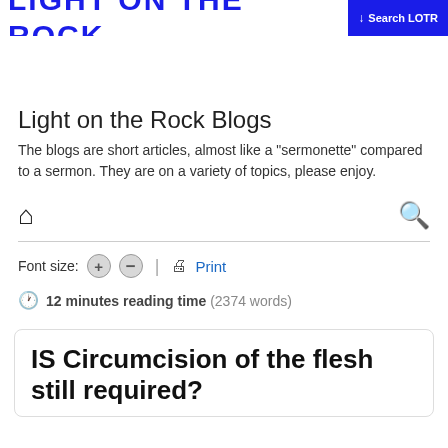LIGHT ON THE ROCK | Search LOTR
Light on the Rock Blogs
The blogs are short articles, almost like a "sermonette" compared to a sermon. They are on a variety of topics, please enjoy.
Font size: + - | Print
12 minutes reading time (2374 words)
IS Circumcision of the flesh still required?